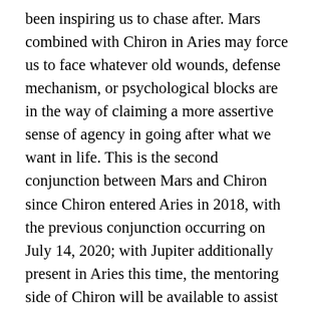been inspiring us to chase after. Mars combined with Chiron in Aries may force us to face whatever old wounds, defense mechanism, or psychological blocks are in the way of claiming a more assertive sense of agency in going after what we want in life. This is the second conjunction between Mars and Chiron since Chiron entered Aries in 2018, with the previous conjunction occurring on July 14, 2020; with Jupiter additionally present in Aries this time, the mentoring side of Chiron will be available to assist in bridging between old, inauthentic identities ready to be released with a more vital sense of self that requires passing through unsettling, radical change in order to become more fully realized. Though the pace of life may feel